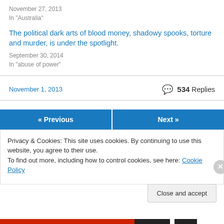November 27, 2013
In "Australia"
The political dark arts of blood money, shadowy spooks, torture and murder, is under the spotlight.
September 30, 2014
In "abuse of power"
November 1, 2013 | 534 Replies
« Previous
Next »
Privacy & Cookies: This site uses cookies. By continuing to use this website, you agree to their use.
To find out more, including how to control cookies, see here: Cookie Policy
Close and accept